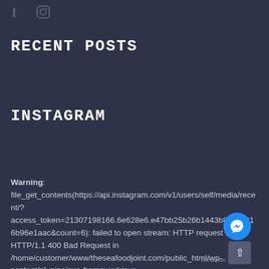[Figure (logo): Social media icons: Facebook 'f' and Instagram camera icon]
RECENT POSTS
INSTAGRAM
Warning: file_get_contents(https://api.instagram.com/v1/users/self/media/recent/?access_token=21307198166.6e628e6.e47bb25b26b1443b80c85316b96e1aac&count=6): failed to open stream: HTTP request failed! HTTP/1.1 400 Bad Request in /home/customer/www/theseafoodjoint.com/public_html/wp-content/plugins/ova-framework/ova-
[Figure (logo): Facebook Messenger chat button (blue circle) and scroll-to-top button]